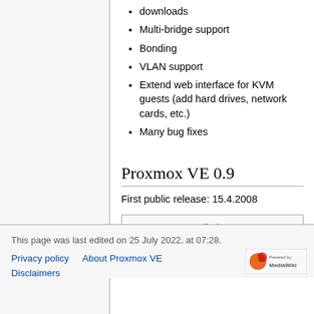downloads
Multi-bridge support
Bonding
VLAN support
Extend web interface for KVM guests (add hard drives, network cards, etc.)
Many bug fixes
Proxmox VE 0.9
First public release: 15.4.2008
Category:  Installation
This page was last edited on 25 July 2022, at 07:28.
Privacy policy   About Proxmox VE
Disclaimers